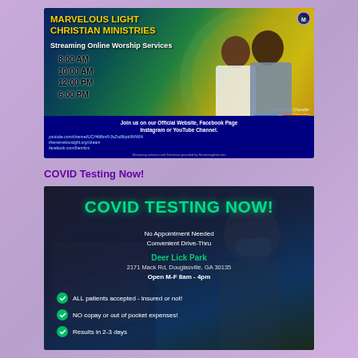[Figure (infographic): Marvelous Light Christian Ministries streaming online worship services banner with times 8:00 AM, 10:00 AM, 12:00 PM, 6:00 PM, photos of Pastor Kelly Chandler and Overseer James E. Chandler, social media icons, and website links]
COVID Testing Now!
[Figure (infographic): COVID TESTING NOW! No Appointment Needed, Convenient Drive-Thru. Deer Lick Park, 2171 Mack Rd, Douglasville, GA 30135. Open M-F 8am - 4pm. ALL patients accepted - insured or not! NO copay or out of pocket expenses! Results in 2-3 days]